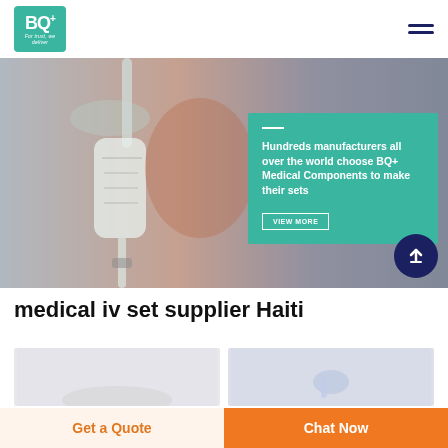[Figure (logo): BQ+ Medical logo on teal/green square background with tagline 'For trust, we deliver']
[Figure (photo): Hero banner showing a medical IV drip chamber/flow regulator in close-up, blurred background, with teal overlay text box and navigation hamburger menu]
Hundreds manufacturers all over the world choose BQ+ Medical Components to make their sets
medical iv set supplier Haiti
[Figure (photo): Left product card - light gray background, partial view of medical IV set component]
[Figure (photo): Right product card - light gray/blue background, partial view of medical needle/cannula component]
Get a Quote
Chat Now